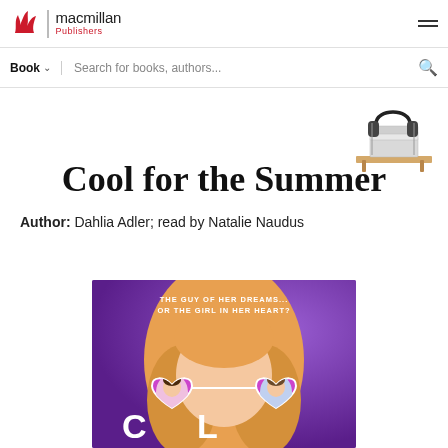Macmillan Publishers
Book   Search for books, authors...
[Figure (illustration): Illustration of a pair of headphones resting on a stack of books on a wooden shelf, suggesting an audiobook]
Cool for the Summer
Author: Dahlia Adler; read by Natalie Naudus
[Figure (illustration): Book cover for 'Cool for the Summer' showing an illustrated girl with long blonde hair wearing heart-shaped sunglasses. The lenses show portraits of a girl and a boy. Text reads 'THE GUY OF HER DREAMS... OR THE GIRL IN HER HEART?' and 'COOL' in large letters on a purple background.]